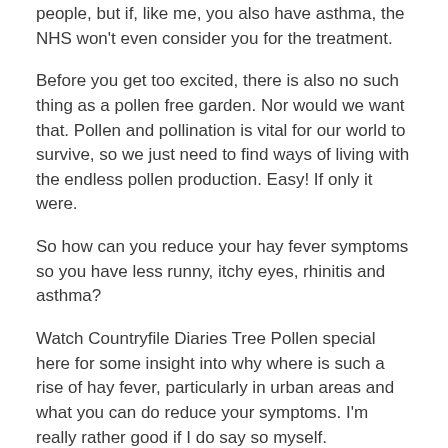people, but if, like me, you also have asthma, the NHS won't even consider you for the treatment.
Before you get too excited, there is also no such thing as a pollen free garden. Nor would we want that. Pollen and pollination is vital for our world to survive, so we just need to find ways of living with the endless pollen production. Easy! If only it were.
So how can you reduce your hay fever symptoms so you have less runny, itchy eyes, rhinitis and asthma?
Watch Countryfile Diaries Tree Pollen special here for some insight into why where is such a rise of hay fever, particularly in urban areas and what you can do reduce your symptoms. I'm really rather good if I do say so myself.